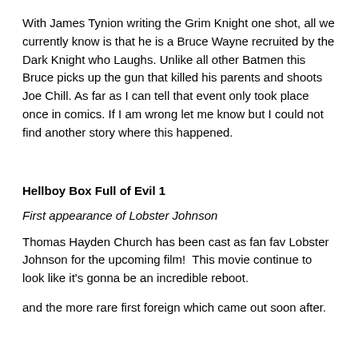With James Tynion writing the Grim Knight one shot, all we currently know is that he is a Bruce Wayne recruited by the Dark Knight who Laughs. Unlike all other Batmen this Bruce picks up the gun that killed his parents and shoots Joe Chill. As far as I can tell that event only took place once in comics. If I am wrong let me know but I could not find another story where this happened.
Hellboy Box Full of Evil 1
First appearance of Lobster Johnson
Thomas Hayden Church has been cast as fan fav Lobster Johnson for the upcoming film!  This movie continue to look like it's gonna be an incredible reboot.
and the more rare first foreign which came out soon after.